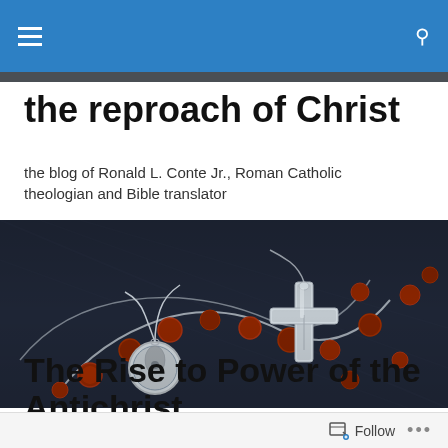the reproach of Christ — navigation bar
the reproach of Christ
the blog of Ronald L. Conte Jr., Roman Catholic theologian and Bible translator
[Figure (photo): Close-up photograph of a rosary with red/brown beads and a silver crucifix and miraculous medal, resting on dark fabric]
GALLERY
The Rise to Power of the Antichrist
Follow